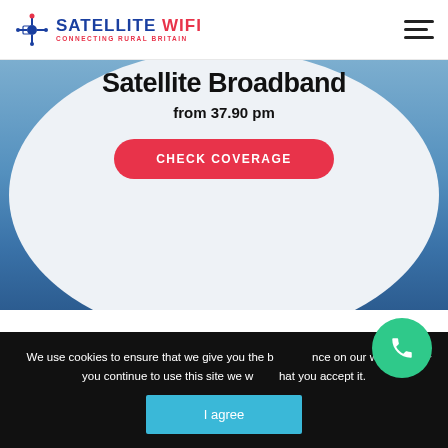[Figure (logo): Satellite WiFi logo with satellite icon, blue text 'SATELLITE WiFi' and red subtext 'CONNECTING RURAL BRITAIN']
Satellite Broadband
from 37.90 pm
CHECK COVERAGE
We use cookies to ensure that we give you the best experience on our website. If you continue to use this site we will assume that you accept it.
I agree